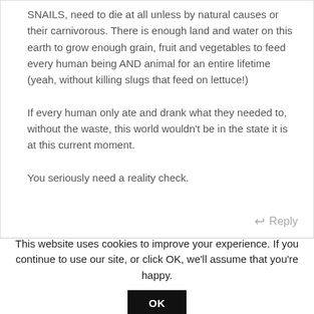SNAILS, need to die at all unless by natural causes or their carnivorous. There is enough land and water on this earth to grow enough grain, fruit and vegetables to feed every human being AND animal for an entire lifetime (yeah, without killing slugs that feed on lettuce!)

If every human only ate and drank what they needed to, without the waste, this world wouldn't be in the state it is at this current moment.

You seriously need a reality check.
↩ Reply
This website uses cookies to improve your experience. If you continue to use our site, or click OK, we'll assume that you're happy.